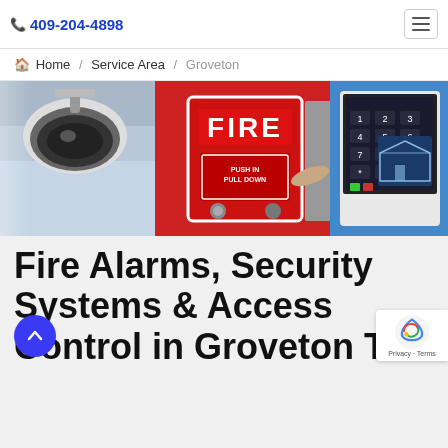📞 409-204-4898
Home / Service Area / Groveton
[Figure (photo): Composite banner image showing a security camera on the left, a red fire alarm pull station in the center, and a hand touching a smart home security keypad panel on the right with a digital blueprint overlay]
Fire Alarms, Security Systems & Access Control in Groveton TX